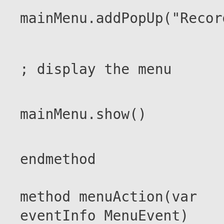mainMenu.addPopUp("Record",rec
; display the menu
mainMenu.show()
endmethod
method menuAction(var
eventInfo MenuEvent)